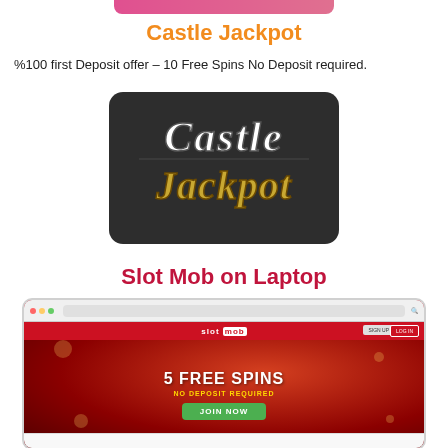Castle Jackpot
%100 first Deposit offer – 10 Free Spins No Deposit required.
[Figure (logo): Castle Jackpot logo — gothic lettering on dark rounded rectangle background. Top line reads 'Castle' in white gothic font, bottom line reads 'Jackpot' in gold/brown gothic font.]
Slot Mob on Laptop
[Figure (screenshot): Screenshot of Slot Mob casino website displayed in a browser window. Red background with '5 FREE SPINS / NO DEPOSIT REQUIRED / JOIN NOW' promotional banner. Slot mob logo visible in header bar.]